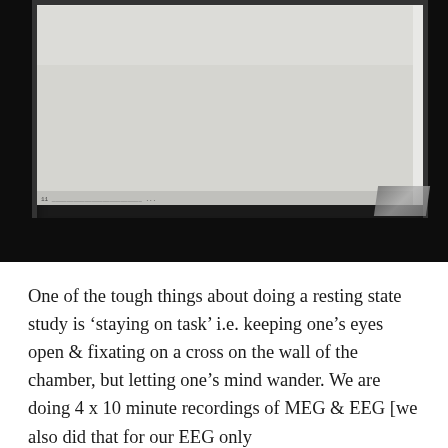[Figure (photo): Photograph of a computer monitor/screen in a dark room showing horizontal scan lines on the screen. The monitor displays what appears to be a white/light gray screen with dense horizontal lines (possibly EEG or MEG data). The monitor is framed in black and sits in a dark environment. A small white/gray object is visible in the lower right corner.]
One of the tough things about doing a resting state study is 'staying on task' i.e. keeping one's eyes open & fixating on a cross on the wall of the chamber, but letting one's mind wander. We are doing 4 x 10 minute recordings of MEG & EEG [we also did that for our EEG only